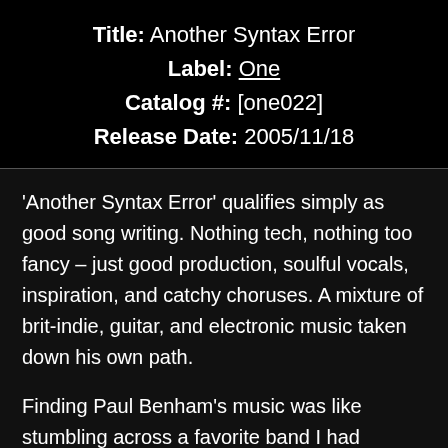Title: Another Syntax Error
Label: One
Catalog #: [one022]
Release Date: 2005/11/18
'Another Syntax Error' qualifies simply as good song writing. Nothing tech, nothing too fancy – just good production, soulful vocals, inspiration, and catchy choruses. A mixture of brit-indie, guitar, and electronic music taken down his own path.
Finding Paul Benham's music was like stumbling across a favorite band I had somehow missed. Then I found out it was only one person, an avid